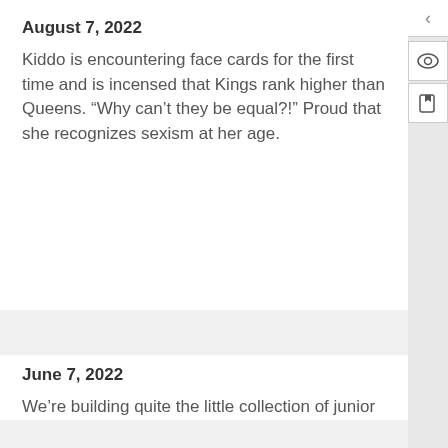August 7, 2022
Kiddo is encountering face cards for the first time and is incensed that Kings rank higher than Queens. “Why can’t they be equal?!” Proud that she recognizes sexism at her age.
June 7, 2022
We’re building quite the little collection of junior versions of classic Eurogames, and they’re ranging from “almost as fun as the original” to “this is Candyland with higher production values.”